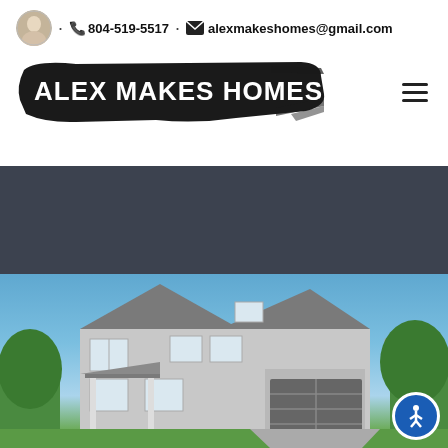804-519-5517 · alexmakeshomes@gmail.com
[Figure (logo): Alex Makes Homes logo — white bold text on black brushstroke background]
[Figure (photo): Rendering of a two-story residential home with gray siding, dark roof, attached garage, and blue sky background. Accessibility button visible in lower right corner.]